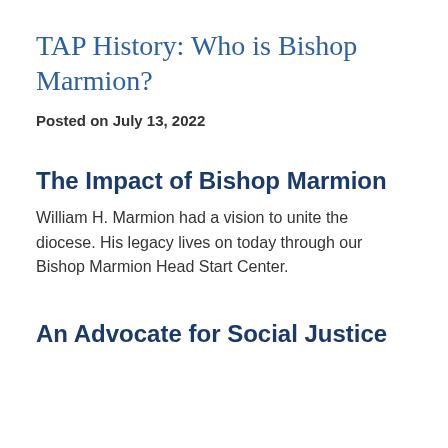TAP History: Who is Bishop Marmion?
Posted on July 13, 2022
The Impact of Bishop Marmion
William H. Marmion had a vision to unite the diocese. His legacy lives on today through our Bishop Marmion Head Start Center.
An Advocate for Social Justice